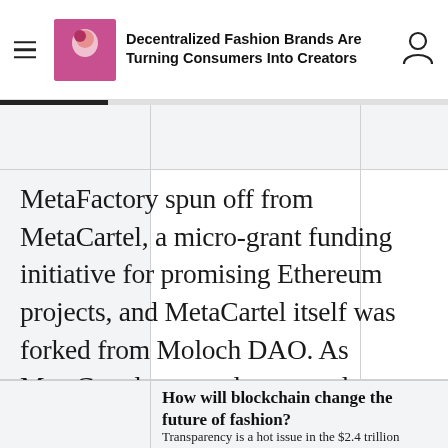Decentralized Fashion Brands Are Turning Consumers Into Creators
MetaFactory spun off from MetaCartel, a micro-grant funding initiative for promising Ethereum projects, and MetaCartel itself was forked from Moloch DAO. As MetaCartel amassed more and more collaborators, they began to think about incubating projects internally rather than simply awarding grants to others.
How will blockchain change the future of fashion?
Transparency is a hot issue in the $2.4 trillion garment industry. On the one hand...